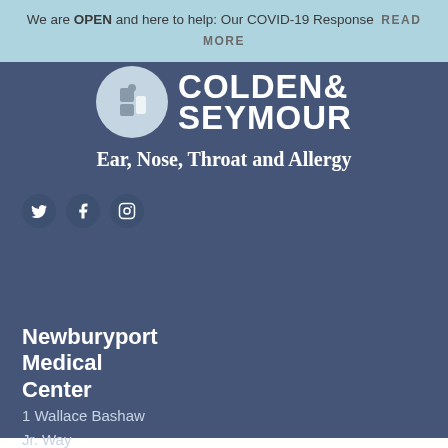We are OPEN and here to help: Our COVID-19 Response READ MORE
[Figure (logo): Colden & Seymour circular logo with stylized face/puzzle piece graphic and text 'COLDEN & SEYMOUR' in bold white uppercase letters on dark blue background]
Ear, Nose, Throat and Allergy
[Figure (illustration): Social media icons: Twitter bird, Facebook f, Instagram camera — circular dark blue buttons]
Newburyport Medical Center
1 Wallace Bashaw Jr. Way Suite 3002